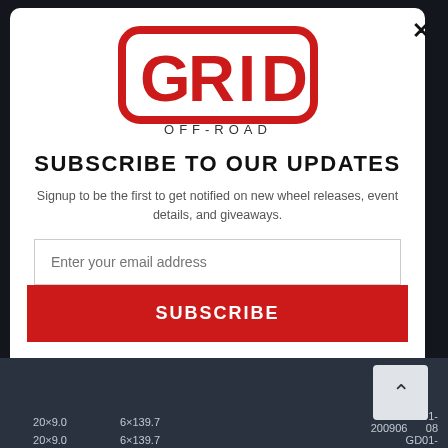[Figure (logo): GRID OFF-ROAD logo in red with rounded rectangular border]
SUBSCRIBE TO OUR UPDATES
Signup to be the first to get notified on new wheel releases, event details, and giveaways.
Enter your email address
SUBSCRIBE
20×9.0   6×139.7   GD01-   200906...08
20×9.0   6×139.7   GD01-